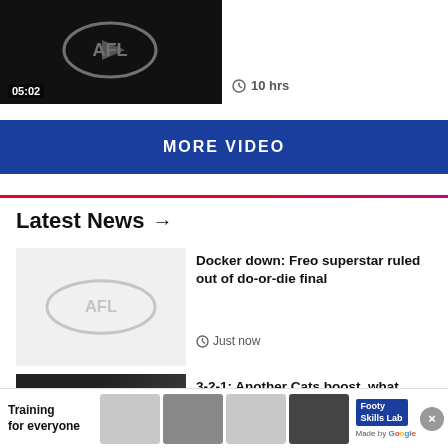[Figure (screenshot): Video thumbnail showing dark background with AFL logo watermark and timestamp 05:02 in lower left]
10 hrs
MORE VIDEO
Latest News →
[Figure (photo): AFL logo placeholder on grey background for news article thumbnail]
Docker down: Freo superstar ruled out of do-or-die final
Just now
[Figure (photo): Dark photo showing a person with lights in background]
3-2-1: Another Cats boost, what makes Fagan tick, joy for
[Figure (screenshot): Advertisement banner: Training for everyone - Footy Skills Lab Made by Google]